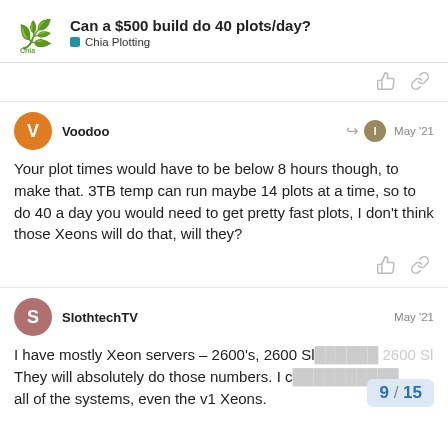Can a $500 build do 40 plots/day? | Chia Plotting
Voodoo — May '21
Your plot times would have to be below 8 hours though, to make that. 3TB temp can run maybe 14 plots at a time, so to do 40 a day you would need to get pretty fast plots, I don't think those Xeons will do that, will they?
SlothtechTV — May '21
I have mostly Xeon servers – 2600's, 2600 Sl... and 2600 Sl... They will absolutely do those numbers. I c... all of the systems, even the v1 Xeons.